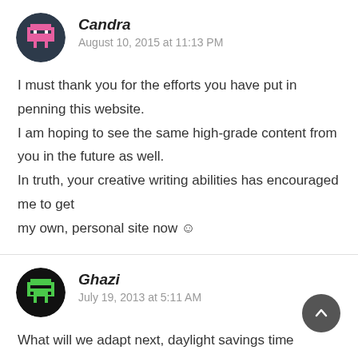[Figure (illustration): Pixel art avatar for user Candra, dark teal circular background with pink pixel character]
Candra
August 10, 2015 at 11:13 PM
I must thank you for the efforts you have put in penning this website.
I am hoping to see the same high-grade content from you in the future as well.
In truth, your creative writing abilities has encouraged me to get my own, personal site now ☺
[Figure (illustration): Pixel art avatar for user Ghazi, black circular background with green pixel character]
Ghazi
July 19, 2013 at 5:11 AM
What will we adapt next, daylight savings ti... Solar/Roman calendar? Is it so hard just to be